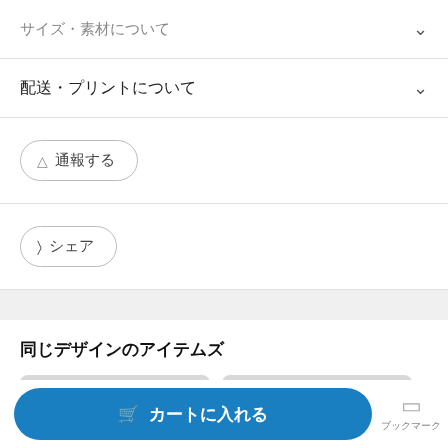サイズ・素材について
配送・プリントについて
▲ 通報する
＜ シェア
同じデザインのアイテムズ
カートに入れる
ブックマーク